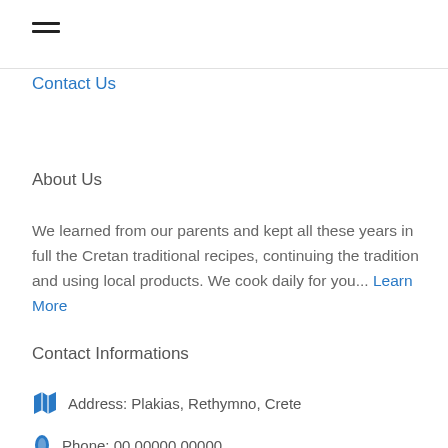[Figure (other): Hamburger menu icon (three horizontal lines)]
Contact Us
About Us
We learned from our parents and kept all these years in full the Cretan traditional recipes, continuing the tradition and using local products. We cook daily for you... Learn More
Contact Informations
Address: Plakias, Rethymno, Crete
Phone: 00 00000 00000